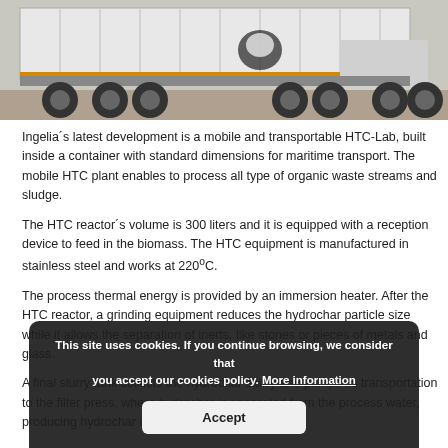[Figure (photo): A truck/semi-trailer carrying a large white shipping container, photographed from the side showing wheels and undercarriage.]
Ingelia´s latest development is a mobile and transportable HTC-Lab, built inside a container with standard dimensions for maritime transport. The mobile HTC plant enables to process all type of organic waste streams and sludge.
The HTC reactor´s volume is 300 liters and it is equipped with a reception device to feed in the biomass. The HTC equipment is manufactured in stainless steel and works at 220ºC.
The process thermal energy is provided by an immersion heater. After the HTC reactor, a grinding equipment reduces the hydrochar particle size while it allows the separation of inerts, like stones or pieces of metals and glass.
A final slurry tank collects the hydrochar slurry and pumps its transportation to the filter press, where hydrochar is separated from the process water, producing hydrochar cakes.